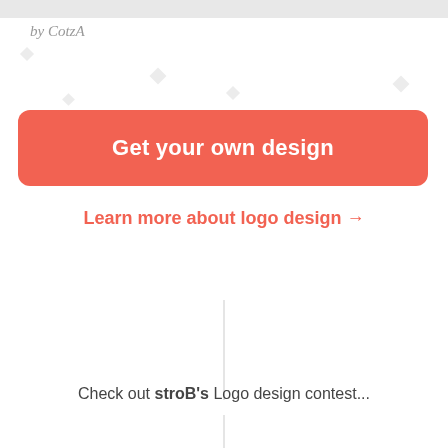by CotzA
Get your own design
Learn more about logo design →
Check out stroB's Logo design contest...